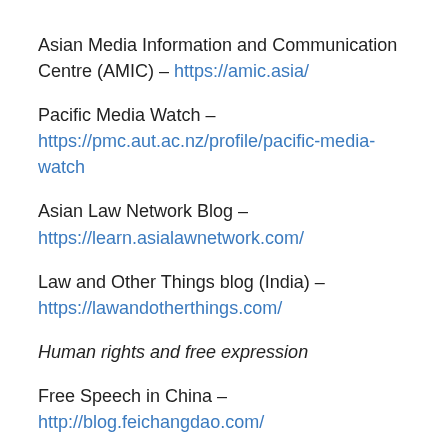Asian Media Information and Communication Centre (AMIC) – https://amic.asia/
Pacific Media Watch – https://pmc.aut.ac.nz/profile/pacific-media-watch
Asian Law Network Blog – https://learn.asialawnetwork.com/
Law and Other Things blog (India) – https://lawandotherthings.com/
Human rights and free expression
Free Speech in China – http://blog.feichangdao.com/
Case law databases
Asian case law (WorldLII) – http://www.worldlii.org/cgi-